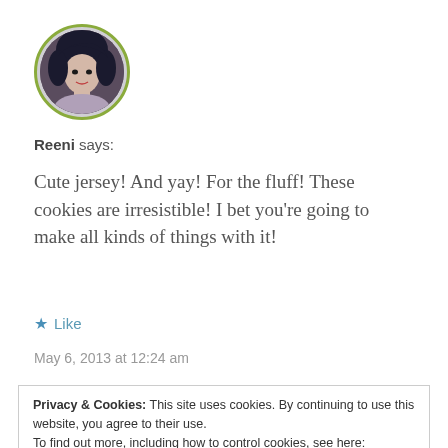[Figure (photo): Circular avatar photo of a woman with dark hair, framed by a green circular border]
Reeni says:
Cute jersey! And yay! For the fluff! These cookies are irresistible! I bet you’re going to make all kinds of things with it!
★ Like
May 6, 2013 at 12:24 am
Privacy & Cookies: This site uses cookies. By continuing to use this website, you agree to their use.
To find out more, including how to control cookies, see here: Cookie Policy
Close and accept